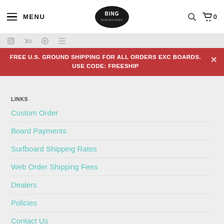MENU | BING SURFBOARDS | Search | Cart 0
FREE U.S. GROUND SHIPPING FOR ALL ORDERS EXC BOARDS. USE CODE: FREESHIP
LINKS
Custom Order
Board Payments
Surfboard Shipping Rates
Web Order Shipping Fees
Dealers
Policies
Contact Us
Terms of Service
Refund policy